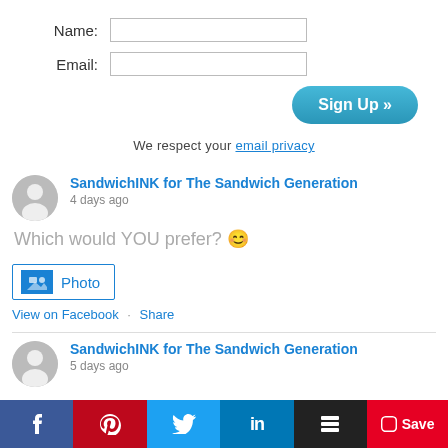Name:
Email:
Sign Up »
We respect your email privacy
SandwichINK for The Sandwich Generation
4 days ago
Which would YOU prefer? 😊
Photo
View on Facebook · Share
SandwichINK for The Sandwich Generation
5 days ago
[Figure (infographic): Social sharing bar with Facebook, Pinterest, Twitter, LinkedIn, Buffer, and Pinterest Save buttons]